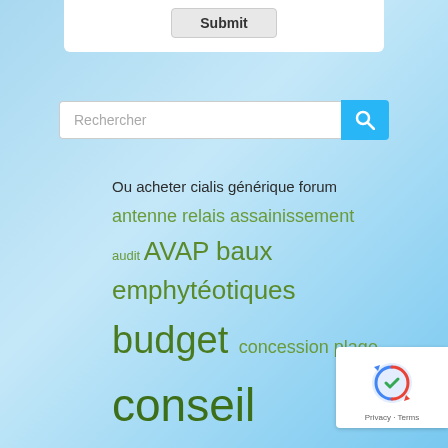[Figure (other): Submit button inside a white panel at the top of the page]
[Figure (other): Search bar with placeholder 'Rechercher' and a blue search button with magnifying glass icon]
Ou acheter cialis générique forum
antenne relais assainissement
audit AVAP baux emphytéotiques
budget concession plage
conseil municipal
Crestade Demi-Lune
déchets démocratie
la sale eau potable